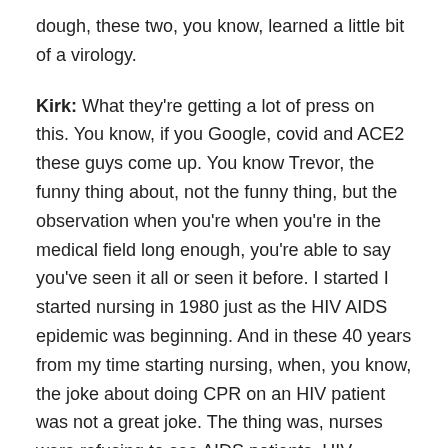dough, these two, you know, learned a little bit of a virology.
Kirk: What they're getting a lot of press on this. You know, if you Google, covid and ACE2 these guys come up. You know Trevor, the funny thing about, not the funny thing, but the observation when you're when you're in the medical field long enough, you're able to say you've seen it all or seen it before. I started I started nursing in 1980 just as the HIV AIDS epidemic was beginning. And in these 40 years from my time starting nursing, when, you know, the joke about doing CPR on an HIV patient was not a great joke. The thing was, nurses were refusing to see AIDS patients, HIV patients. In these 40 years now an HIV AIDS patients can actually live a long and fruitful life because we've done some incredible studies on HIV AIDS. Now